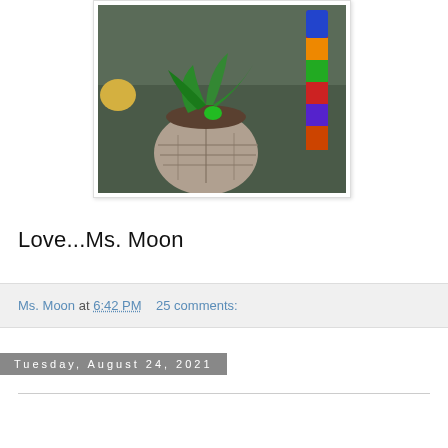[Figure (photo): A photo of a plant growing in a coconut shell pot, placed on a dark textured surface. A colorful cylindrical object is visible to the right of the pot.]
Love...Ms. Moon
Ms. Moon at 6:42 PM    25 comments:
Tuesday, August 24, 2021